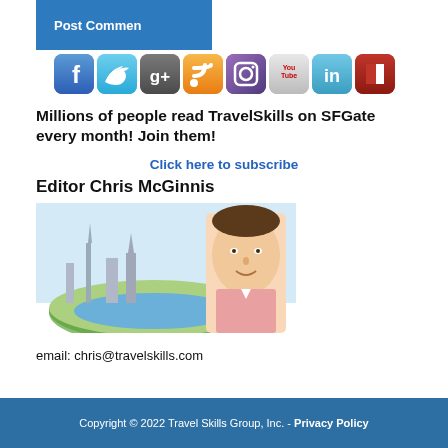Post Comment
[Figure (infographic): Row of social media icons: Facebook, Twitter, Google+, RSS, Instagram, YouTube, LinkedIn, Flipboard]
Millions of people read TravelSkills on SFGate every month! Join them!
Click here to subscribe
Editor Chris McGinnis
[Figure (photo): Photo of editor Chris McGinnis with travel globe illustration]
email: chris@travelskills.com
Copyright © 2022 Travel Skills Group, Inc. - Privacy Policy